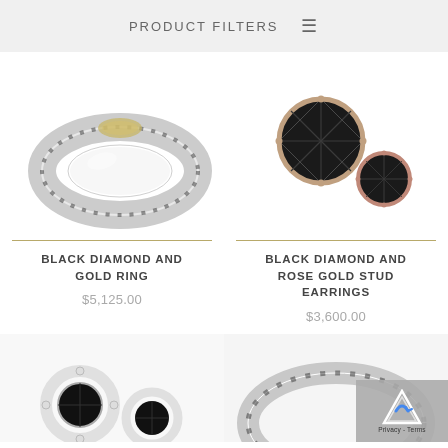PRODUCT FILTERS
[Figure (photo): Black diamond and gold ring product photo on white background]
[Figure (photo): Black diamond and rose gold stud earrings product photo on white background]
BLACK DIAMOND AND GOLD RING
$5,125.00
BLACK DIAMOND AND ROSE GOLD STUD EARRINGS
$3,600.00
[Figure (photo): Black diamond halo stud earrings product photo — bottom left]
[Figure (photo): Black diamond band ring product photo — bottom right, partially obscured by reCAPTCHA badge]